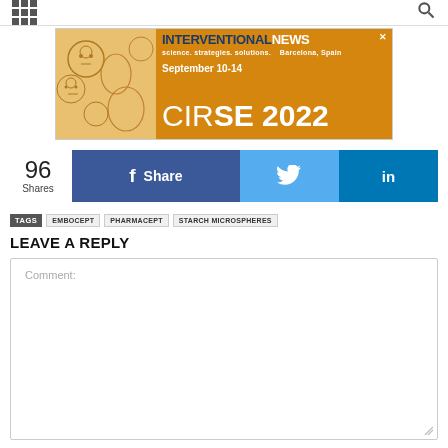INTERVENTIONAL NEWS
[Figure (illustration): CIRSE 2022 advertisement banner showing illustrated faces on orange background with text 'INTERVENTIONAL NEWS', 'science. strategies. solutions. Barcelona, Spain', 'September 10-14', 'CIRSE 2022']
96 Shares
f Share
Twitter share button
LinkedIn share button
TAGS EMBOCEPT PHARMACEPT STARCH MICROSPHERES
LEAVE A REPLY
Comment: